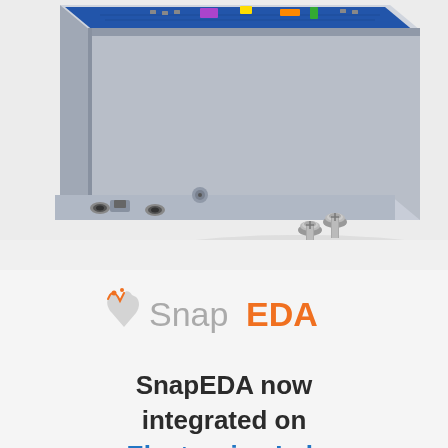[Figure (photo): Close-up photo of a grey electronic enclosure box with a blue PCB circuit board inside, mounting holes on a flange, and two small metallic screws beside it on a white background.]
[Figure (logo): SnapEDA logo with a stylized hand icon, 'Snap' in grey and 'EDA' in orange.]
SnapEDA now integrated on Electronics-Lab